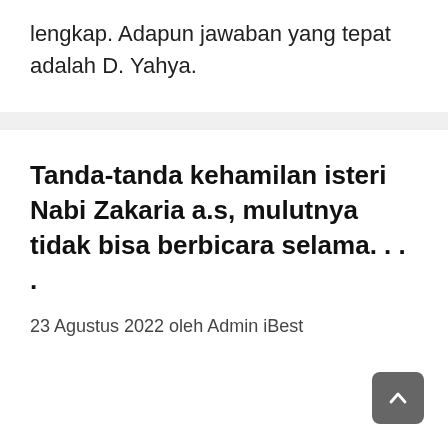lengkap. Adapun jawaban yang tepat adalah D. Yahya.
Tanda-tanda kehamilan isteri Nabi Zakaria a.s, mulutnya tidak bisa berbicara selama. . . .
23 Agustus 2022 oleh Admin iBest